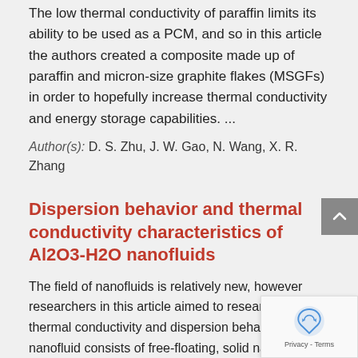The low thermal conductivity of paraffin limits its ability to be used as a PCM, and so in this article the authors created a composite made up of paraffin and micron-size graphite flakes (MSGFs) in order to hopefully increase thermal conductivity and energy storage capabilities. ...
Author(s): D. S. Zhu, J. W. Gao, N. Wang, X. R. Zhang
Dispersion behavior and thermal conductivity characteristics of Al2O3-H2O nanofluids
The field of nanofluids is relatively new, however researchers in this article aimed to research their thermal conductivity and dispersion behaviours. A nanofluid consists of free-floating, solid nanoparticles suspended in a base fluid. Specifically, Al2O3-H2O nanofluids were investigated in this study. Us...
Author(s): D. Zhu, H. Li, J. Gao, N. Wang, X. Li, X. Wang